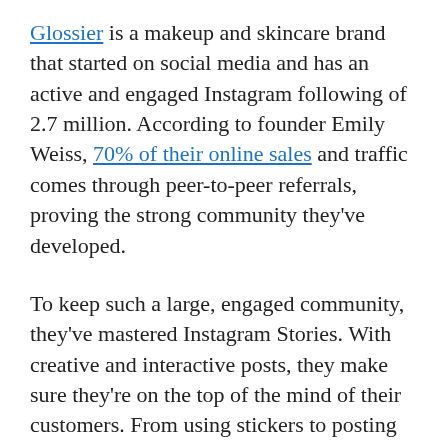Glossier is a makeup and skincare brand that started on social media and has an active and engaged Instagram following of 2.7 million. According to founder Emily Weiss, 70% of their online sales and traffic comes through peer-to-peer referrals, proving the strong community they've developed.
To keep such a large, engaged community, they've mastered Instagram Stories. With creative and interactive posts, they make sure they're on the top of the mind of their customers. From using stickers to posting playlists, they use their Stories to link to their website, where they post more in-depth content.